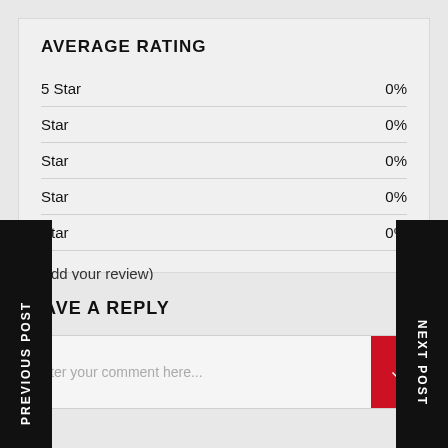AVERAGE RATING
5 Star  0%
Star  0%
Star  0%
Star  0%
Star  0%
Add your review)
PREVIOUS POST
NEXT POST
LEAVE A REPLY
Enter your comment here...